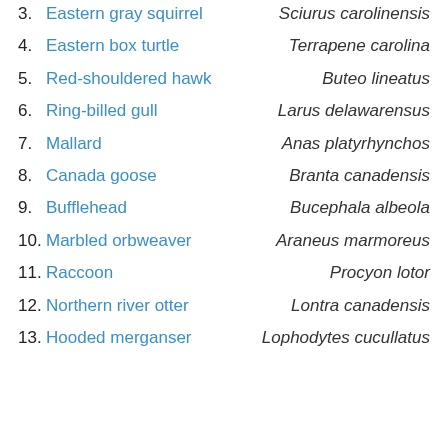3. Eastern gray squirrel — Sciurus carolinensis
4. Eastern box turtle — Terrapene carolina
5. Red-shouldered hawk — Buteo lineatus
6. Ring-billed gull — Larus delawarensus
7. Mallard — Anas platyrhynchos
8. Canada goose — Branta canadensis
9. Bufflehead — Bucephala albeola
10. Marbled orbweaver — Araneus marmoreus
11. Raccoon — Procyon lotor
12. Northern river otter — Lontra canadensis
13. Hooded merganser — Lophodytes cucullatus